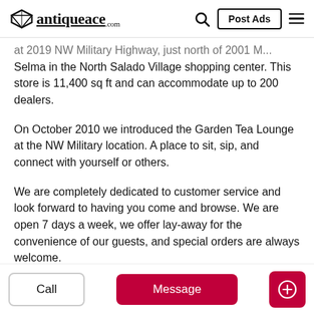antiqueace.com — Post Ads
at 2019 NW Military Highway, just north of Loop in Selma in the North Salado Village shopping center. This store is 11,400 sq ft and can accommodate up to 200 dealers.
On October 2010 we introduced the Garden Tea Lounge at the NW Military location. A place to sit, sip, and connect with yourself or others.
We are completely dedicated to customer service and look forward to having you come and browse. We are open 7 days a week, we offer lay-away for the convenience of our guests, and special orders are always welcome.